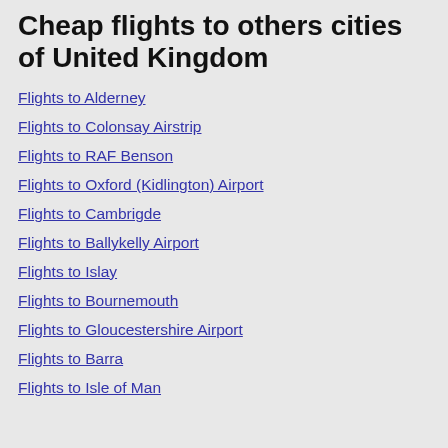Cheap flights to others cities of United Kingdom
Flights to Alderney
Flights to Colonsay Airstrip
Flights to RAF Benson
Flights to Oxford (Kidlington) Airport
Flights to Cambrigde
Flights to Ballykelly Airport
Flights to Islay
Flights to Bournemouth
Flights to Gloucestershire Airport
Flights to Barra
Flights to Isle of Man